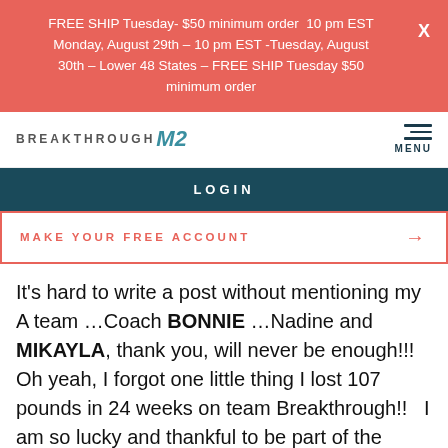FREE SHIP Tuesday- $50 minimum order  10 pm EST Monday, August 29th – 10 pm EST -Tuesday, August 30th – Lower 48 States – FREE SHIP Tuesday $50 minimum order
[Figure (logo): BREAKTHROUGH M2 logo with teal M2 mark]
LOGIN
MAKE YOUR FREE ACCOUNT →
It's hard to write a post without mentioning my A team …Coach BONNIE …Nadine and MIKAYLA, thank you, will never be enough!!! Oh yeah, I forgot one little thing I lost 107 pounds in 24 weeks on team Breakthrough!!   I am so lucky and thankful to be part of the Breakthrough Family❣~ William